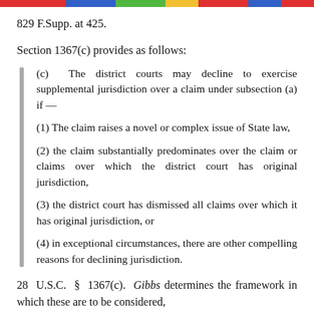829 F.Supp. at 425.
Section 1367(c) provides as follows:
(c) The district courts may decline to exercise supplemental jurisdiction over a claim under subsection (a) if —
(1) The claim raises a novel or complex issue of State law,
(2) the claim substantially predominates over the claim or claims over which the district court has original jurisdiction,
(3) the district court has dismissed all claims over which it has original jurisdiction, or
(4) in exceptional circumstances, there are other compelling reasons for declining jurisdiction.
28 U.S.C. § 1367(c). Gibbs determines the framework in which these are to be considered,